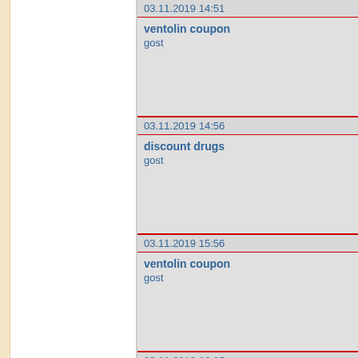03.11.2019 14:51
ventolin coupon
gost
03.11.2019 14:56
discount drugs
gost
03.11.2019 15:56
ventolin coupon
gost
03.11.2019 16:05
ventolin inhaler coupon
gost
03.11.2019 17:15